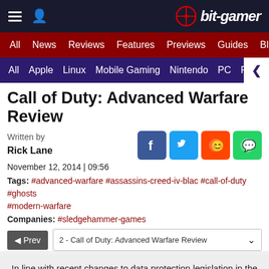bit-gamer
All | News | Reviews | Features | Previews | Guides | Blogs
All | Apple | Linux | Mobile Gaming | Nintendo | PC | P...
Call of Duty: Advanced Warfare Review
Written by
Rick Lane
November 12, 2014 | 09:56
Tags: #advanced-warfare #assassins-creed-iv-blac #call-of-duty #ghosts #modern-warfare
Companies: #sledgehammer-games
◄ Prev   2 - Call of Duty: Advanced Warfare Review
In line with recent changes to data protection legislation in the UK and Europe we would like to direct you to our updated Privacy Policy here.
Dismiss